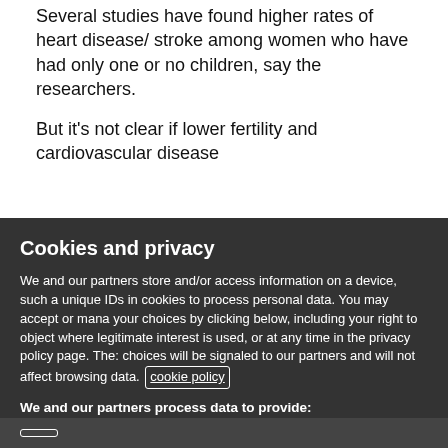Several studies have found higher rates of heart disease/ stroke among women who have had only one or no children, say the researchers.
But it's not clear if lower fertility and cardiovascular disease share certain biological factors in common, or that would be…
Cookies and privacy
We and our partners store and/or access information on a device, such as unique IDs in cookies to process personal data. You may accept or manage your choices by clicking below, including your right to object where legitimate interest is used, or at any time in the privacy policy page. These choices will be signaled to our partners and will not affect browsing data. cookie policy
We and our partners process data to provide:
Store and/or access information on a device. Personalised ads and content, ad and content measurement, audience insights and product development. Use precise geolocation data. Actively scan device characteristics for identification
List of Partners (vendors)